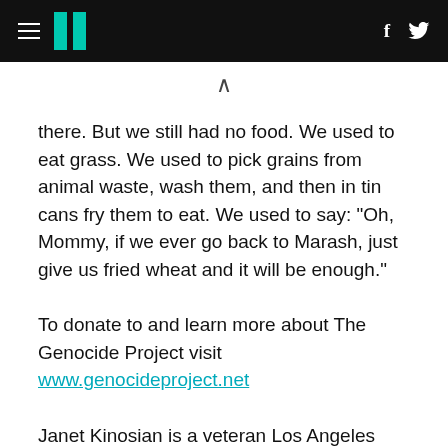HuffPost header with hamburger menu, logo, Facebook and Twitter icons
there. But we still had no food. We used to eat grass. We used to pick grains from animal waste, wash them, and then in tin cans fry them to eat. We used to say: "Oh, Mommy, if we ever go back to Marash, just give us fried wheat and it will be enough."
To donate to and learn more about The Genocide Project visit www.genocideproject.net
Janet Kinosian is a veteran Los Angeles journalist and writes for The Los Angeles Times,